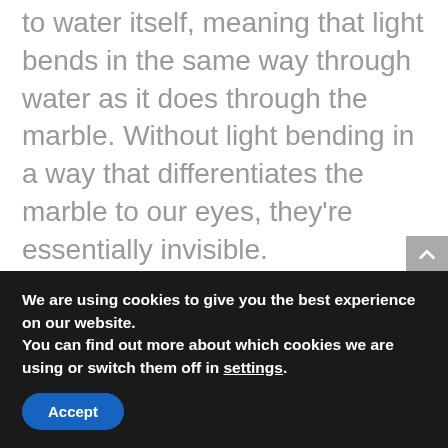to water itself, meaning that light bends in the same way through water as it does through the marble. Without light bending in a way that differentiates the marble to our eyes, they're essentially invisible.
Colorful Milk Art
[Figure (other): Broken image icon followed by text: Let's break it down: The surface tension]
We are using cookies to give you the best experience on our website.
You can find out more about which cookies we are using or switch them off in settings.